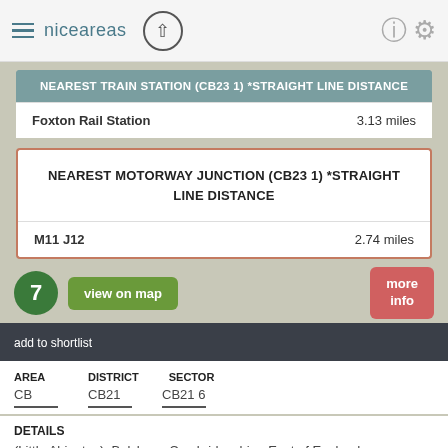niceareas
|  |  |
| --- | --- |
| Foxton Rail Station | 3.13 miles |
NEAREST MOTORWAY JUNCTION (CB23 1) *STRAIGHT LINE DISTANCE
|  |  |
| --- | --- |
| M11 J12 | 2.74 miles |
7    view on map    more info
add to shortlist
| AREA | DISTRICT | SECTOR |
| --- | --- | --- |
| CB | CB21 | CB21 6 |
DETAILS
(Little Abington), Balsham, Cambridgeshire, East of England